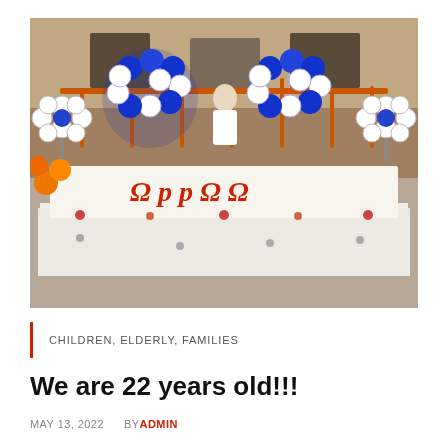[Figure (photo): A celebration setup showing a long table covered in white cloth with small decorations placed along the front edge. Behind the table hangs a large white banner with colorful Armenian letters. Above the banner are two large '22' shapes made entirely of blue and white balloons. On either side are flower-shaped balloon arrangements (white petals with blue center). Orange balloons are visible on the far left. A person in white clothing stands in the background near the building entrance with steps and railings visible.]
CHILDREN, ELDERLY, FAMILIES
We are 22 years old!!!
MAY 13, 2022   BY ADMIN